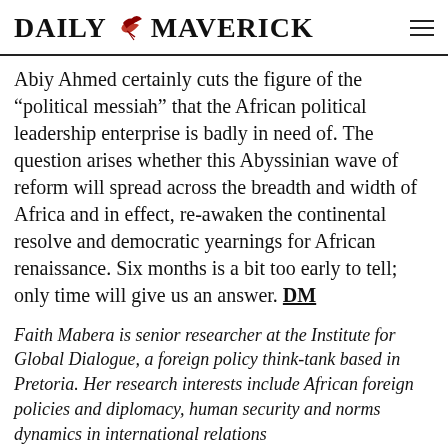DAILY MAVERICK
Abiy Ahmed certainly cuts the figure of the “political messiah” that the African political leadership enterprise is badly in need of. The question arises whether this Abyssinian wave of reform will spread across the breadth and width of Africa and in effect, re-awaken the continental resolve and democratic yearnings for African renaissance. Six months is a bit too early to tell; only time will give us an answer. DM
Faith Mabera is senior researcher at the Institute for Global Dialogue, a foreign policy think-tank based in Pretoria. Her research interests include African foreign policies and diplomacy, human security and norms dynamics in international relations